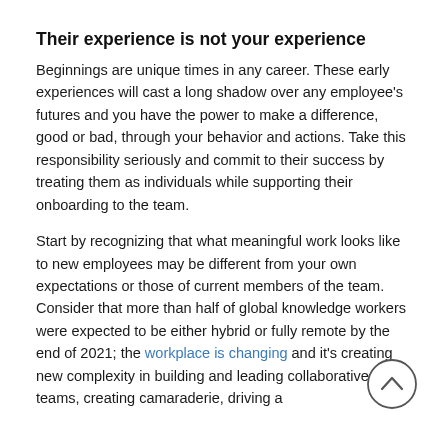Their experience is not your experience
Beginnings are unique times in any career. These early experiences will cast a long shadow over any employee's futures and you have the power to make a difference, good or bad, through your behavior and actions. Take this responsibility seriously and commit to their success by treating them as individuals while supporting their onboarding to the team.
Start by recognizing that what meaningful work looks like to new employees may be different from your own expectations or those of current members of the team. Consider that more than half of global knowledge workers were expected to be either hybrid or fully remote by the end of 2021; the workplace is changing and it's creating new complexity in building and leading collaborative teams, creating camaraderie, driving a